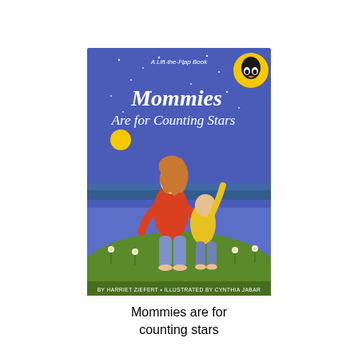[Figure (illustration): Book cover of 'Mommies Are for Counting Stars' — A Lift-the-Flap Book. Shows a mother and child standing on a green hill at night, looking up at stars. The child points upward. Blue night sky background with a yellow moon. Publisher Puffin logo in top right corner. Text at bottom: BY HARRIET ZIEFERT • ILLUSTRATED BY CYNTHIA JABAR.]
Mommies are for counting stars